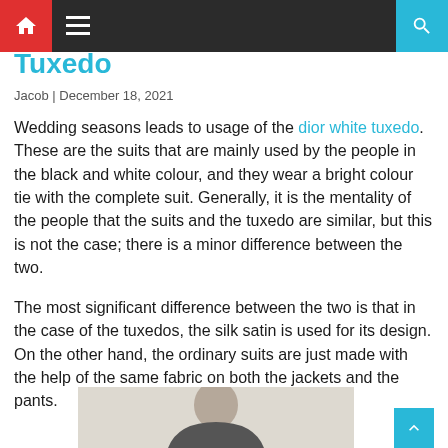Navigation bar with home, menu, and search icons
Tuxedo
Jacob | December 18, 2021
Wedding seasons leads to usage of the dior white tuxedo. These are the suits that are mainly used by the people in the black and white colour, and they wear a bright colour tie with the complete suit. Generally, it is the mentality of the people that the suits and the tuxedo are similar, but this is not the case; there is a minor difference between the two.
The most significant difference between the two is that in the case of the tuxedos, the silk satin is used for its design. On the other hand, the ordinary suits are just made with the help of the same fabric on both the jackets and the pants.
[Figure (photo): Photo of a person in a tuxedo, partially visible, cropped at bottom of page]